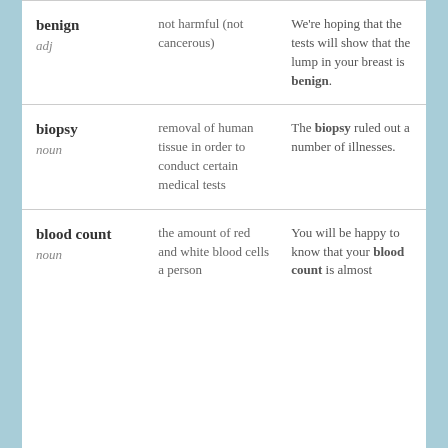| Term | Definition | Example |
| --- | --- | --- |
| benign
adj | not harmful (not cancerous) | We're hoping that the tests will show that the lump in your breast is benign. |
| biopsy
noun | removal of human tissue in order to conduct certain medical tests | The biopsy ruled out a number of illnesses. |
| blood count
noun | the amount of red and white blood cells a person | You will be happy to know that your blood count is almost |